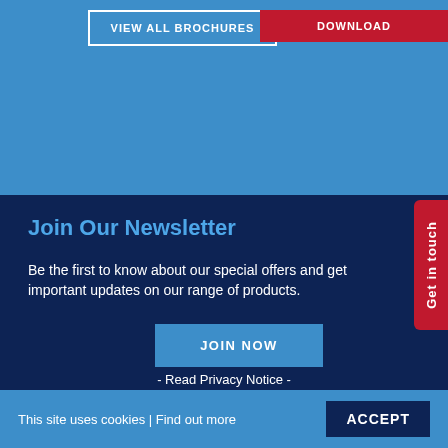VIEW ALL BROCHURES
DOWNLOAD
Join Our Newsletter
Be the first to know about our special offers and get important updates on our range of products.
JOIN NOW
- Read Privacy Notice -
Get in touch
This site uses cookies | Find out more
ACCEPT